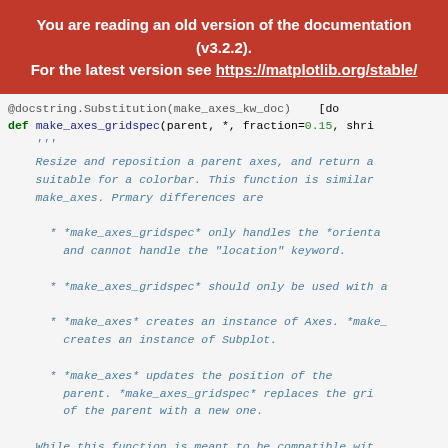You are reading an old version of the documentation (v3.2.2). For the latest version see https://matplotlib.org/stable/
@docstring.Substitution(make_axes_kw_doc)    [do
def make_axes_gridspec(parent, *, fraction=0.15, shri
    '''
    Resize and reposition a parent axes, and return a
    suitable for a colorbar. This function is similar
    make_axes. Prmary differences are

    * *make_axes_gridspec* only handles the *orienta
      and cannot handle the "location" keyword.

    * *make_axes_gridspec* should only be used with a

    * *make_axes* creates an instance of Axes. *make_
      creates an instance of Subplot.

    * *make_axes* updates the position of the
      parent. *make_axes_gridspec* replaces the gri
      of the parent with a new one.

    While this function is meant to be compatible wit
    there could be some minor differences.